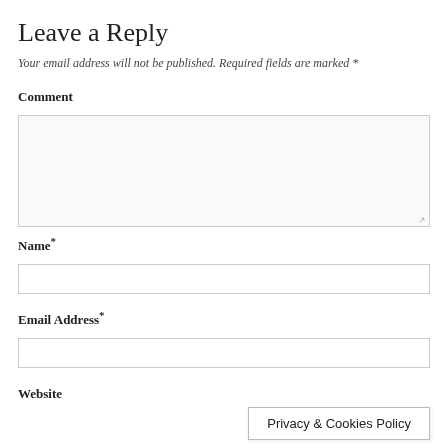Leave a Reply
Your email address will not be published. Required fields are marked *
Comment
[Figure (screenshot): Comment text area input box with resize handle]
Name*
[Figure (screenshot): Name text input box]
Email Address*
[Figure (screenshot): Email Address text input box]
Website
Privacy & Cookies Policy